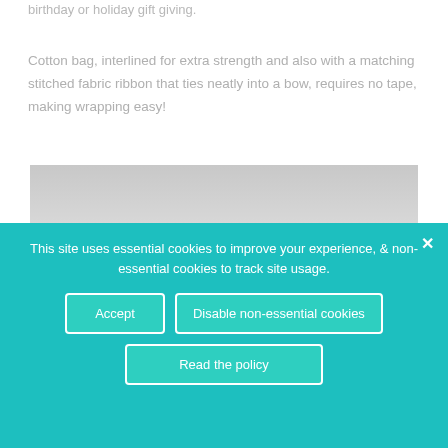birthday or holiday gift giving.
Cotton bag, interlined for extra strength and also with a matching stitched fabric ribbon that ties neatly into a bow, requires no tape, making wrapping easy!
[Figure (photo): A folded cotton gift bag with red and cream floral/paisley pattern, photographed against a light grey background.]
This site uses essential cookies to improve your experience, & non-essential cookies to track site usage.
Accept
Disable non-essential cookies
Read the policy